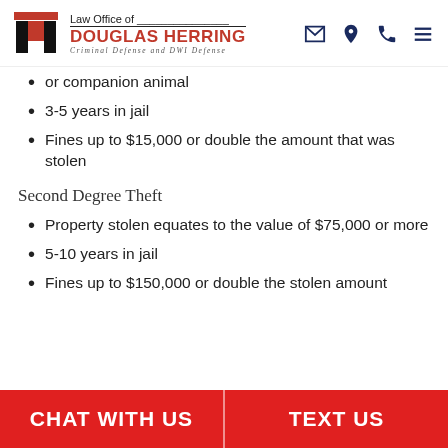[Figure (logo): Law Office of Douglas Herring – Criminal Defense and DWI Defense logo with red and black column icon]
or companion animal
3-5 years in jail
Fines up to $15,000 or double the amount that was stolen
Second Degree Theft
Property stolen equates to the value of $75,000 or more
5-10 years in jail
Fines up to $150,000 or double the stolen amount
CHAT WITH US | TEXT US